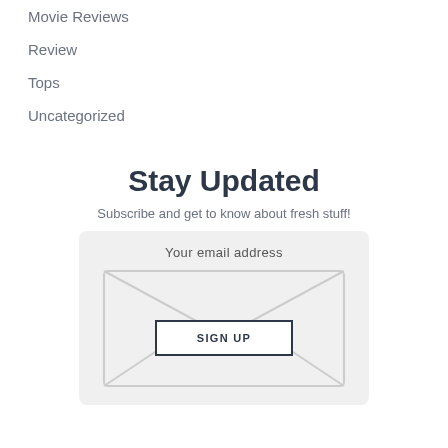Movie Reviews
Review
Tops
Uncategorized
Stay Updated
Subscribe and get to know about fresh stuff!
Your email address
SIGN UP